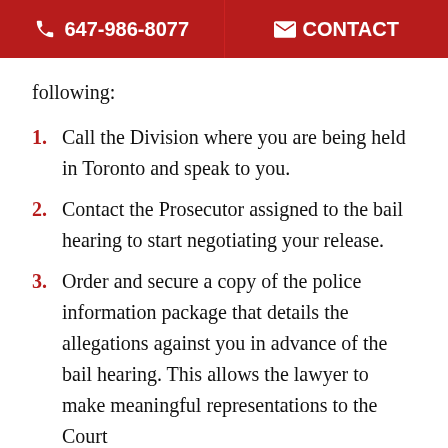647-986-8077   CONTACT
following:
1. Call the Division where you are being held in Toronto and speak to you.
2. Contact the Prosecutor assigned to the bail hearing to start negotiating your release.
3. Order and secure a copy of the police information package that details the allegations against you in advance of the bail hearing. This allows the lawyer to make meaningful representations to the Court